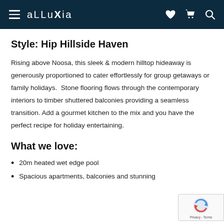alluXia
Style: Hip Hillside Haven
Rising above Noosa, this sleek & modern hilltop hideaway is generously proportioned to cater effortlessly for group getaways or family holidays.  Stone flooring flows through the contemporary interiors to timber shuttered balconies providing a seamless transition. Add a gourmet kitchen to the mix and you have the perfect recipe for holiday entertaining.
What we love:
20m heated wet edge pool
Spacious apartments, balconies and stunning